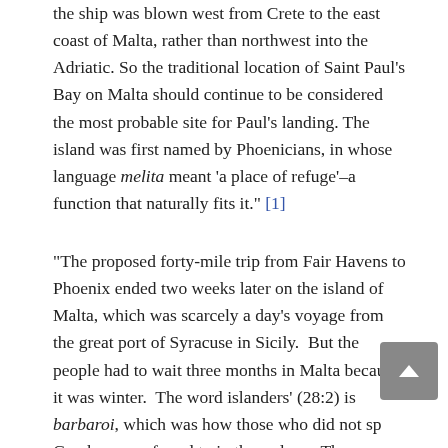the ship was blown west from Crete to the east coast of Malta, rather than northwest into the Adriatic. So the traditional location of Saint Paul's Bay on Malta should continue to be considered the most probable site for Paul's landing. The island was first named by Phoenicians, in whose language melita meant 'a place of refuge'–a function that naturally fits it." [1]
"The proposed forty-mile trip from Fair Havens to Phoenix ended two weeks later on the island of Malta, which was scarcely a day's voyage from the great port of Syracuse in Sicily.  But the people had to wait three months in Malta because it was winter.  The word islanders' (28:2) is barbaroi, which was how those who did not sp Greek were referred to in those days.  The